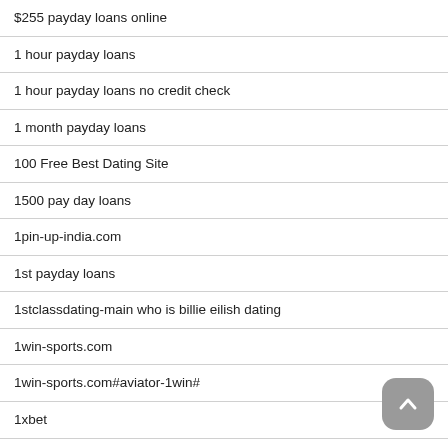$255 payday loans online
1 hour payday loans
1 hour payday loans no credit check
1 month payday loans
100 Free Best Dating Site
1500 pay day loans
1pin-up-india.com
1st payday loans
1stclassdating-main who is billie eilish dating
1win-sports.com
1win-sports.com#aviator-1win#
1xbet